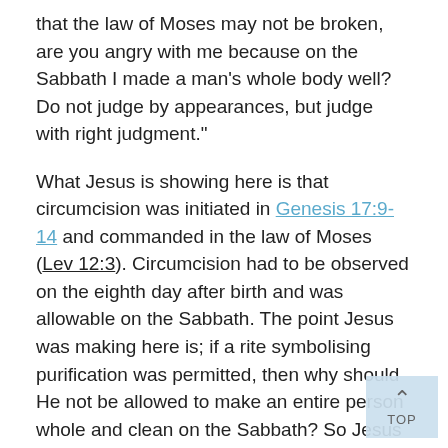that the law of Moses may not be broken, are you angry with me because on the Sabbath I made a man's whole body well? Do not judge by appearances, but judge with right judgment."
What Jesus is showing here is that circumcision was initiated in Genesis 17:9-14 and commanded in the law of Moses (Lev 12:3). Circumcision had to be observed on the eighth day after birth and was allowable on the Sabbath. The point Jesus was making here is; if a rite symbolising purification was permitted, then why should He not be allowed to make an entire person whole and clean on the Sabbath? So Jesus says, stop judging by appearance., In other words, stop making superficial pronouncements on His work and instead evaluate it objectively.